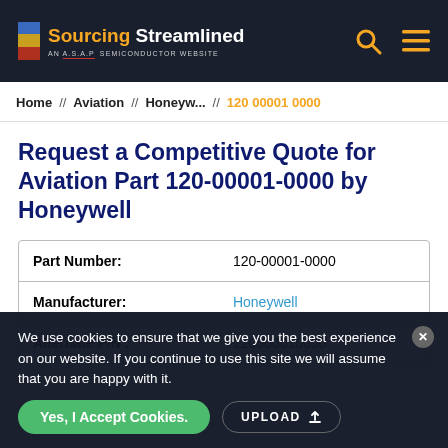Sourcing Streamlined — AN A.S.A.P SEMICONDUCTOR WEBSITE
Home // Aviation // Honeyw... // 120 00001 0000
Request a Competitive Quote for Aviation Part 120-00001-0000 by Honeywell
| Part Number: | 120-00001-0000 |
| Manufacturer: | Honeywell |
| Alternate P/N : | 120000010000 |
We use cookies to ensure that we give you the best experience on our website. If you continue to use this site we will assume that you are happy with it.